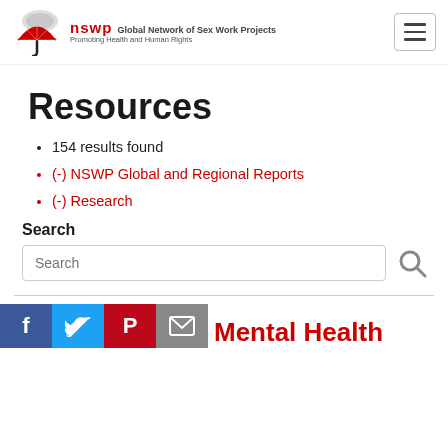NSWP — Global Network of Sex Work Projects — Promoting Health and Human Rights
Resources
154 results found
(-) NSWP Global and Regional Reports
(-) Research
Search
Search [search input field]
Mental Health